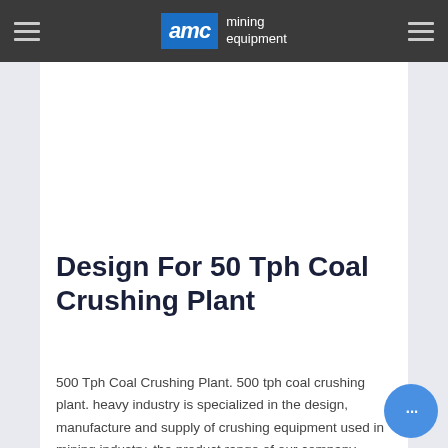AMC mining equipment
Design For 50 Tph Coal Crushing Plant
500 Tph Coal Crushing Plant. 500 tph coal crushing plant. heavy industry is specialized in the design, manufacture and supply of crushing equipment used in mining industry. the product range of our company comprises mobile crushing plant, jaw